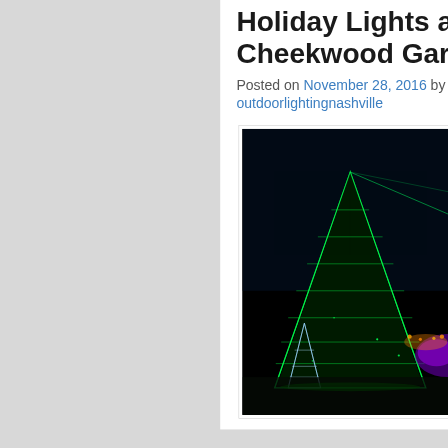Holiday Lights at Cheekwood Gardens!
Posted on November 28, 2016 by outdoorlightingnashville
[Figure (photo): Night photo of illuminated Christmas tree displays at Cheekwood Gardens, showing large green and white cone-shaped trees outlined in lights against a dark sky, with purple and colorful lights visible in the background.]